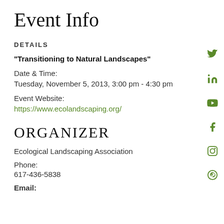Event Info
DETAILS
“Transitioning to Natural Landscapes”
Date & Time:
Tuesday, November 5, 2013, 3:00 pm - 4:30 pm
Event Website:
https://www.ecolandscaping.org/
ORGANIZER
Ecological Landscaping Association
Phone:
617-436-5838
Email: